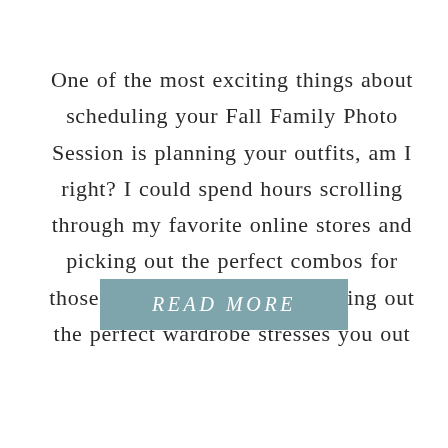One of the most exciting things about scheduling your Fall Family Photo Session is planning your outfits, am I right? I could spend hours scrolling through my favorite online stores and picking out the perfect combos for those magical shots and if picking out the perfect wardrobe stresses you out
READ MORE